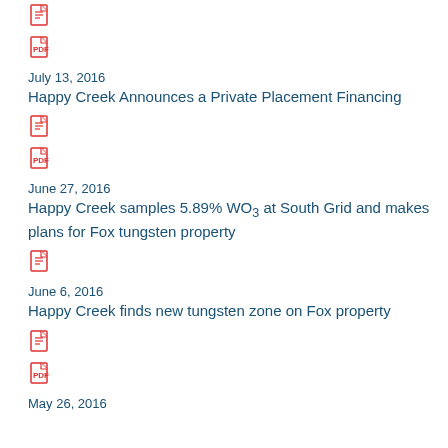[Figure (illustration): Two red document/file icons (text doc and PDF) at top]
July 13, 2016
Happy Creek Announces a Private Placement Financing
[Figure (illustration): Two red document/file icons (text doc and PDF)]
June 27, 2016
Happy Creek samples 5.89% WO3 at South Grid and makes plans for Fox tungsten property
[Figure (illustration): One red document/file icon (text doc)]
June 6, 2016
Happy Creek finds new tungsten zone on Fox property
[Figure (illustration): Two red document/file icons (text doc and PDF)]
May 26, 2016